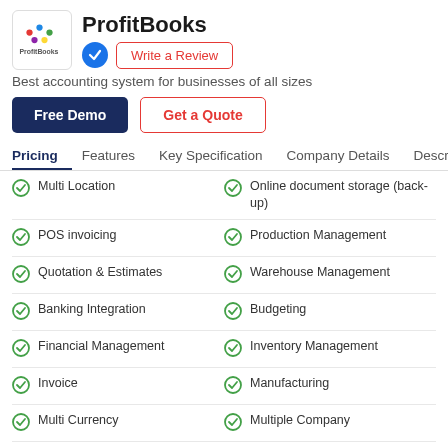[Figure (logo): ProfitBooks logo with colorful dots]
ProfitBooks
Write a Review
Best accounting system for businesses of all sizes
Free Demo
Get a Quote
Pricing   Features   Key Specification   Company Details   Descrip
Multi Location
Online document storage (back-up)
POS invoicing
Production Management
Quotation & Estimates
Warehouse Management
Banking Integration
Budgeting
Financial Management
Inventory Management
Invoice
Manufacturing
Multi Currency
Multiple Company
Outstanding
Product Database
Supplier and Purchase Order Management
Taxation Management
Multi User login & Roll based access
Project Management